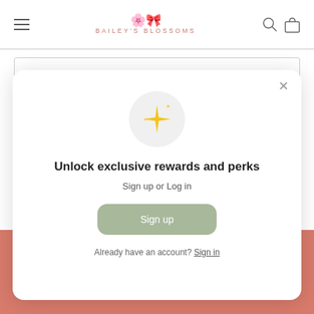BAILEY'S BLOSSOMS
6. Building a Snowman
If you live in a winter wonderland around this time of the
[Figure (screenshot): Modal popup with sparkle icon, title 'Unlock exclusive rewards and perks', subtitle 'Sign up or Log in', a green Sign up button, and a link 'Already have an account? Sign in'. Close X button in top right.]